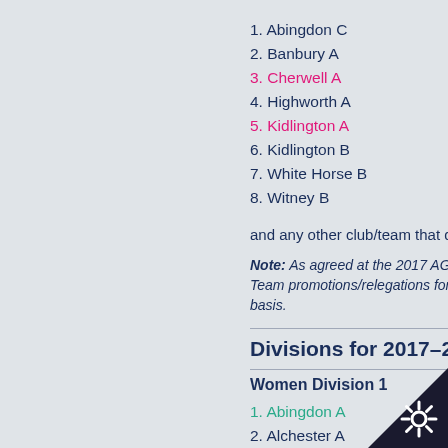1. Abingdon C
2. Banbury A
3. Cherwell A
4. Highworth A
5. Kidlington A
6. Kidlington B
7. White Horse B
8. Witney B
and any other club/team that did no
Note: As agreed at the 2017 AGM the Team promotions/relegations for the basis.
Divisions for 2017–201
Women Division 1
1. Abingdon A
2. Alchester A
3. Headington A
4. Newbury A